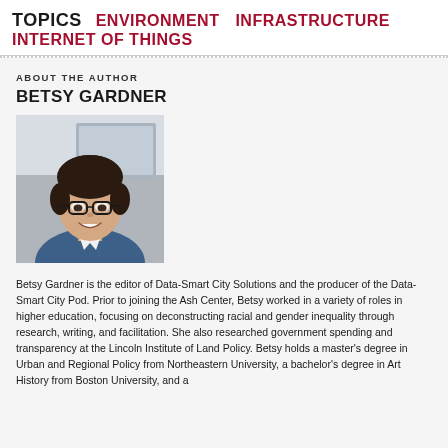TOPICS   ENVIRONMENT   INFRASTRUCTURE   INTERNET OF THINGS
ABOUT THE AUTHOR
BETSY GARDNER
[Figure (photo): Headshot portrait of Betsy Gardner, a woman with dark hair and glasses, wearing a blue jacket, smiling.]
Betsy Gardner is the editor of Data-Smart City Solutions and the producer of the Data-Smart City Pod. Prior to joining the Ash Center, Betsy worked in a variety of roles in higher education, focusing on deconstructing racial and gender inequality through research, writing, and facilitation. She also researched government spending and transparency at the Lincoln Institute of Land Policy. Betsy holds a master's degree in Urban and Regional Policy from Northeastern University, a bachelor's degree in Art History from Boston University, and a